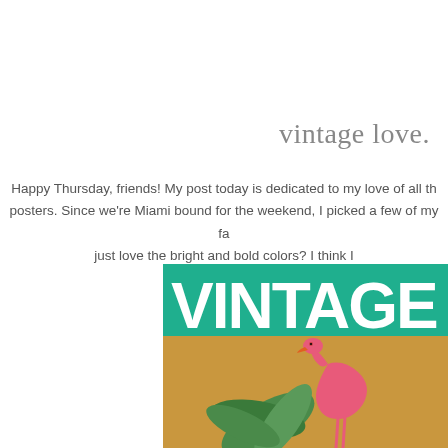vintage love.
Happy Thursday, friends! My post today is dedicated to my love of all th... posters. Since we're Miami bound for the weekend, I picked a few of my fa... just love the bright and bold colors? I think I...
[Figure (illustration): Vintage poster with teal/green banner reading VINTAGE in large bold white letters, below which is a flamingo bird illustration on an orange-tan background with tropical palm leaves.]